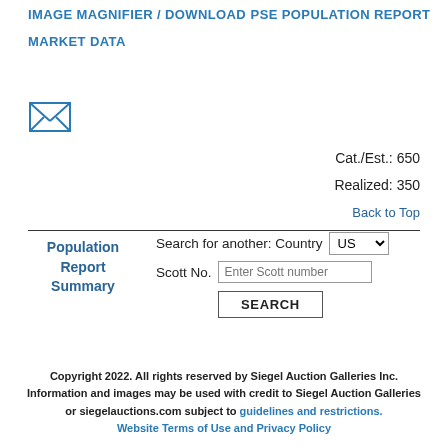IMAGE MAGNIFIER / DOWNLOAD
PSE POPULATION REPORT
MARKET DATA
[Figure (illustration): Envelope icon (letter/email symbol)]
Cat./Est.: 650
Realized: 350
Back to Top
Population Report Summary
Search for another: Country US  Scott No. Enter Scott number  SEARCH
Copyright 2022. All rights reserved by Siegel Auction Galleries Inc. Information and images may be used with credit to Siegel Auction Galleries or siegelauctions.com subject to guidelines and restrictions. Website Terms of Use and Privacy Policy